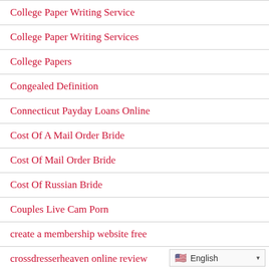College Paper Writing Service
College Paper Writing Services
College Papers
Congealed Definition
Connecticut Payday Loans Online
Cost Of A Mail Order Bride
Cost Of Mail Order Bride
Cost Of Russian Bride
Couples Live Cam Porn
create a membership website free
crossdresserheaven online review
Cryptocurrency service